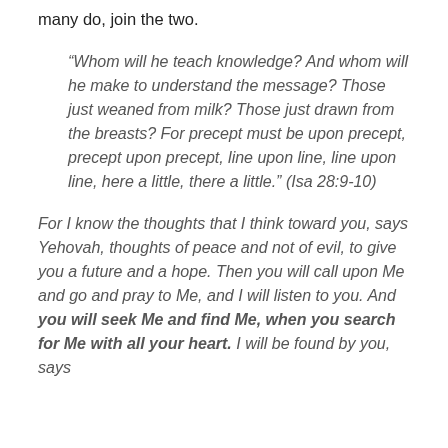many do, join the two.
“Whom will he teach knowledge? And whom will he make to understand the message? Those just weaned from milk? Those just drawn from the breasts? For precept must be upon precept, precept upon precept, line upon line, line upon line, here a little, there a little.” (Isa 28:9-10)
For I know the thoughts that I think toward you, says Yehovah, thoughts of peace and not of evil, to give you a future and a hope. Then you will call upon Me and go and pray to Me, and I will listen to you. And you will seek Me and find Me, when you search for Me with all your heart. I will be found by you, says